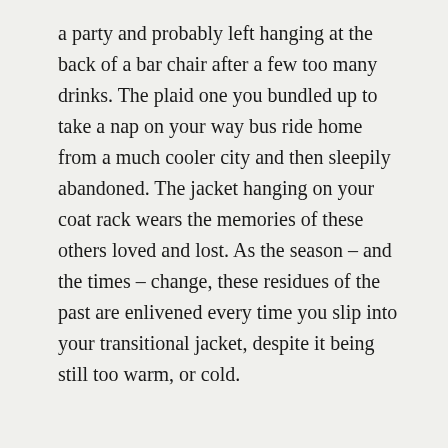a party and probably left hanging at the back of a bar chair after a few too many drinks. The plaid one you bundled up to take a nap on your way bus ride home from a much cooler city and then sleepily abandoned. The jacket hanging on your coat rack wears the memories of these others loved and lost. As the season – and the times – change, these residues of the past are enlivened every time you slip into your transitional jacket, despite it being still too warm, or cold.